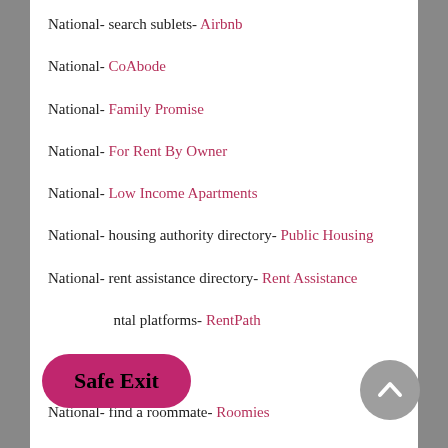National- search sublets- Airbnb
National- CoAbode
National- Family Promise
National- For Rent By Owner
National- Low Income Apartments
National- housing authority directory- Public Housing
National- rent assistance directory- Rent Assistance
National- rental platforms- RentPath
National- find a roommate- Roomies